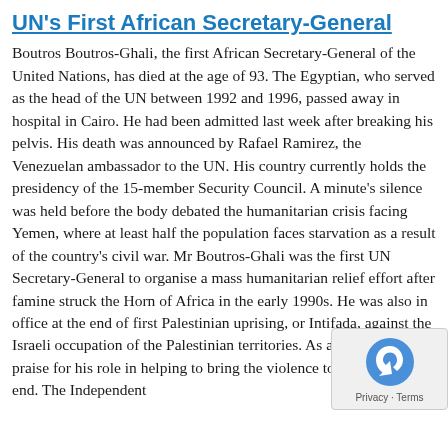UN's First African Secretary-General
Boutros Boutros-Ghali, the first African Secretary-General of the United Nations, has died at the age of 93. The Egyptian, who served as the head of the UN between 1992 and 1996, passed away in hospital in Cairo. He had been admitted last week after breaking his pelvis. His death was announced by Rafael Ramirez, the Venezuelan ambassador to the UN. His country currently holds the presidency of the 15-member Security Council. A minute's silence was held before the body debated the humanitarian crisis facing Yemen, where at least half the population faces starvation as a result of the country's civil war. Mr Boutros-Ghali was the first UN Secretary-General to organise a mass humanitarian relief effort after famine struck the Horn of Africa in the early 1990s. He was also in office at the end of first Palestinian uprising, or Intifada, against the Israeli occupation of the Palestinian territories. As an Arab, he won praise for his role in helping to bring the violence to a temporary end. The Independent